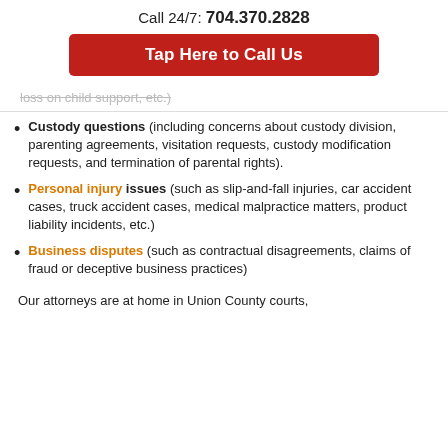Call 24/7: 704.370.2828
Tap Here to Call Us
loss on child support, etc.)
Custody questions (including concerns about custody division, parenting agreements, visitation requests, custody modification requests, and termination of parental rights).
Personal injury issues (such as slip-and-fall injuries, car accident cases, truck accident cases, medical malpractice matters, product liability incidents, etc.)
Business disputes (such as contractual disagreements, claims of fraud or deceptive business practices)
Our attorneys are at home in Union County courts,